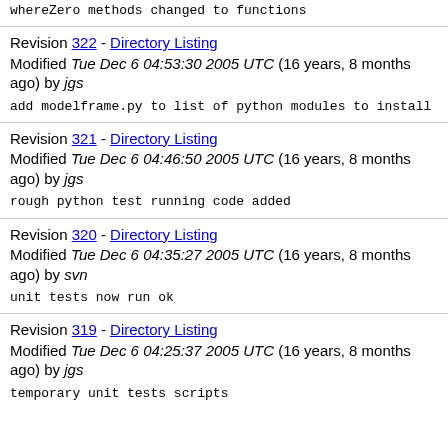whereZero methods changed to functions
Revision 322 - Directory Listing
Modified Tue Dec 6 04:53:30 2005 UTC (16 years, 8 months ago) by jgs
add modelframe.py to list of python modules to install
Revision 321 - Directory Listing
Modified Tue Dec 6 04:46:50 2005 UTC (16 years, 8 months ago) by jgs
rough python test running code added
Revision 320 - Directory Listing
Modified Tue Dec 6 04:35:27 2005 UTC (16 years, 8 months ago) by svn
unit tests now run ok
Revision 319 - Directory Listing
Modified Tue Dec 6 04:25:37 2005 UTC (16 years, 8 months ago) by jgs
temporary unit tests scripts